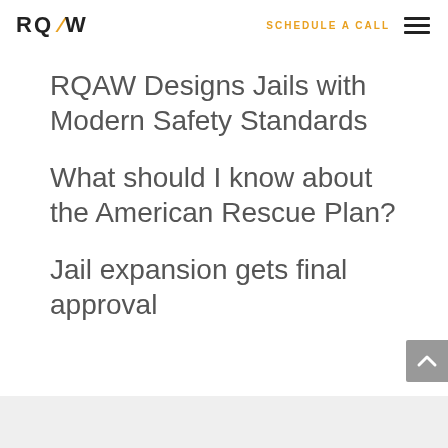RQAW | SCHEDULE A CALL
RQAW Designs Jails with Modern Safety Standards
What should I know about the American Rescue Plan?
Jail expansion gets final approval